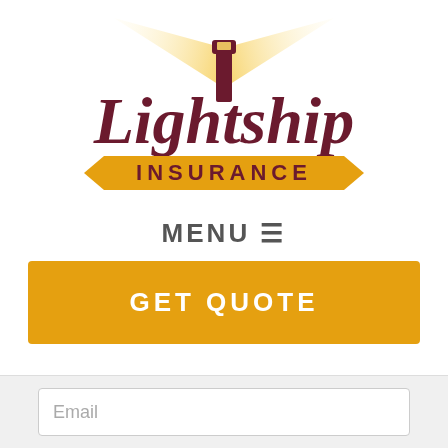[Figure (logo): Lightship Insurance logo with lighthouse beacon and golden banner ribbon, maroon text reading 'Lightship' above 'INSURANCE' on gold banner]
MENU ☰
GET QUOTE
Email